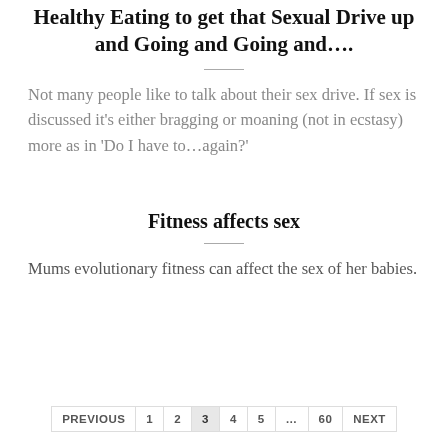Healthy Eating to get that Sexual Drive up and Going and Going and….
Not many people like to talk about their sex drive. If sex is discussed it's either bragging or moaning (not in ecstasy) more as in 'Do I have to…again?'
Fitness affects sex
Mums evolutionary fitness can affect the sex of her babies.
PREVIOUS 1 2 3 4 5 … 60 NEXT